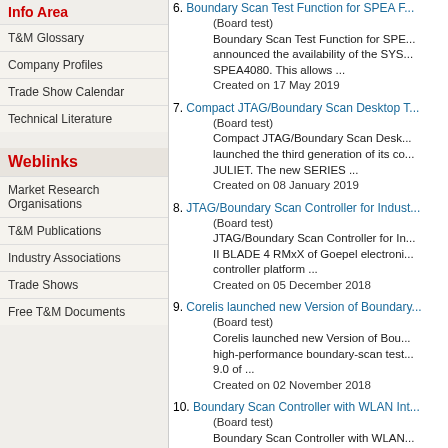Info Area
T&M Glossary
Company Profiles
Trade Show Calendar
Technical Literature
Weblinks
Market Research Organisations
T&M Publications
Industry Associations
Trade Shows
Free T&M Documents
6. Boundary Scan Test Function for SPEA F...
(Board test)
Boundary Scan Test Function for SPE... announced the availability of the SYS... SPEA4080. This allows ...
Created on 17 May 2019
7. Compact JTAG/Boundary Scan Desktop T...
(Board test)
Compact JTAG/Boundary Scan Desk... launched the third generation of its co... JULIET. The new SERIES ...
Created on 08 January 2019
8. JTAG/Boundary Scan Controller for Indust...
(Board test)
JTAG/Boundary Scan Controller for In... II BLADE 4 RMxX of Goepel electroni... controller platform ...
Created on 05 December 2018
9. Corelis launched new Version of Boundary...
(Board test)
Corelis launched new Version of Bou... high-performance boundary-scan test... 9.0 of ...
Created on 02 November 2018
10. Boundary Scan Controller with WLAN Int...
(Board test)
Boundary Scan Controller with WLAN... JTAG/Boundary Scan controller SCA... Previously, the controller ...
Created on 24 July 2018
11. Boundary Scan Testing of DDR4 DIMM S...
(Board test)